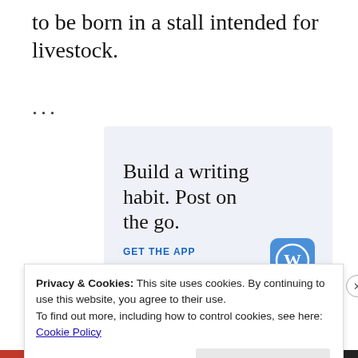to be born in a stall intended for livestock.
...
[Figure (infographic): Advertisement box with light blue background. Text reads 'Build a writing habit. Post on the go.' with a 'GET THE APP' call to action and a WordPress logo icon.]
Privacy & Cookies: This site uses cookies. By continuing to use this website, you agree to their use.
To find out more, including how to control cookies, see here: Cookie Policy
Close and accept